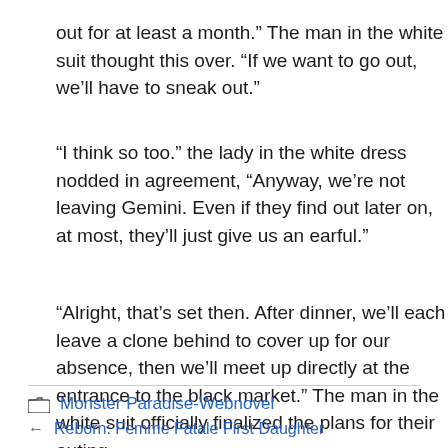out for at least a month.” The man in the white suit thought this over. “If we want to go out, we’ll have to sneak out.”
“I think so too.” the lady in the white dress nodded in agreement, “Anyway, we’re not leaving Gemini. Even if they find out later on, at most, they’ll just give us an earful.”
“Alright, that’s set then. After dinner, we’ll each leave a clone behind to cover up for our absence, then we’ll meet up directly at the entrance to the black market.” The man in the white suit officially finalized the plans for their outing.
Monster Paradise-Webnovel
Reborn: Femme Fatale First Daughter